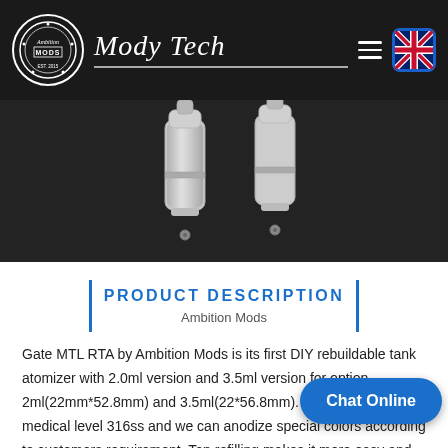Mody Tech — Ambition Mods
[Figure (photo): Two silver metallic vape RTA tank atomizers on a dark textured background]
PRODUCT DESCRIPTION
Ambition Mods
Gate MTL RTA by Ambition Mods is its first DIY rebuildable tank atomizer with 2.0ml version and 3.5ml version for option. 2ml(22mm*52.8mm) and 3.5ml(22*56.8mm). It is made of medical level 316ss and we can anodize special colors according to customers requirement. Top refilling makes it more easy and fast to refill tank. With dual chambers and control the flow of e-juice according to their own needs. There are 2